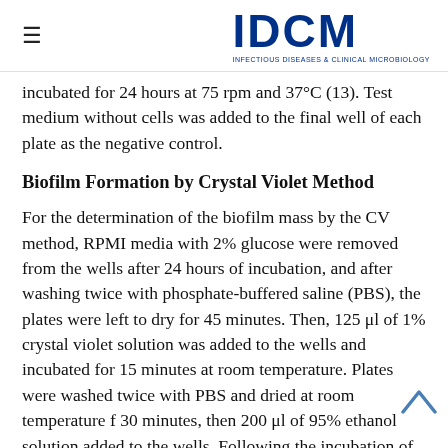IDCM — Infectious Diseases & Clinical Microbiology
incubated for 24 hours at 75 rpm and 37°C (13). Test medium without cells was added to the final well of each plate as the negative control.
Biofilm Formation by Crystal Violet Method
For the determination of the biofilm mass by the CV method, RPMI media with 2% glucose were removed from the wells after 24 hours of incubation, and after washing twice with phosphate-buffered saline (PBS), the plates were left to dry for 45 minutes. Then, 125 μl of 1% crystal violet solution was added to the wells and incubated for 15 minutes at room temperature. Plates were washed twice with PBS and dried at room temperature f 30 minutes, then 200 μl of 95% ethanol solution added to the wells. Following the incubation of the